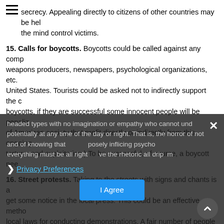secrecy. Appealing directly to citizens of other countries may be helpful to the mind control victims.
15. Calls for boycotts. Boycotts could be called against any companies, weapons producers, newspapers, psychological organizations, etc. in the United States. Tourists could be asked not to indirectly support the crimes. boycotts, if they are successful some innocent people will be penalized. of American society that profit directly or indirectly from this ongoing torture, and exploitation.) To be successful, of course, a boycott nee
16. Street protests. Taking to the streets with signs and chants is a way to get some notice in the local press. This could be an effective method. local laws for conducting demonstrations. A fair number of people need refined techniques to disrupt and discredit street protests, and deve
17. Building demonstration weapons. One technique to get beyond projection weapon and publicly demonstrate it, it might get some pu headed types with no imagination or empathy who cannot understand potentially at any time of the day or night. That is, the horror of not and of knowing that someone is purposely inflicing psycho everything must be all right because the rhetoric all drips ma
On the positive side, it would not take especially advanced technolo
Privacy Preferences — I Agree (cookie consent overlay)